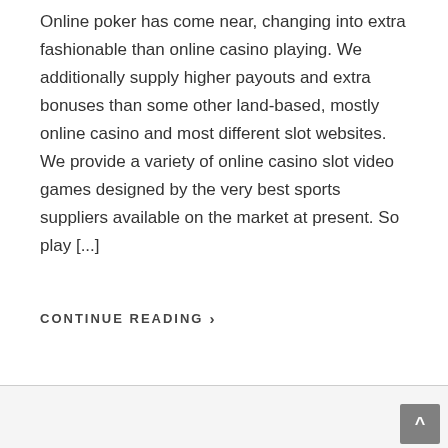Online poker has come near, changing into extra fashionable than online casino playing. We additionally supply higher payouts and extra bonuses than some other land-based, mostly online casino and most different slot websites. We provide a variety of online casino slot video games designed by the very best sports suppliers available on the market at present. So play [...]
CONTINUE READING >
[Figure (photo): Roulette wheel with casino chips visible at the bottom of the page]